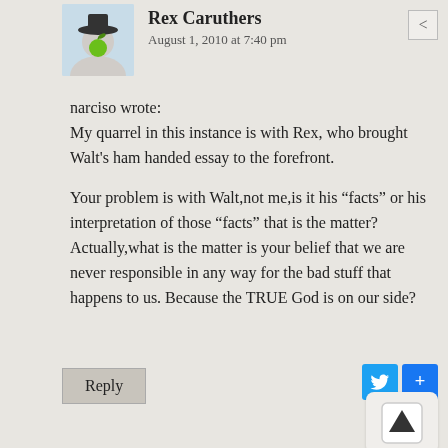Rex Caruthers
August 1, 2010 at 7:40 pm
narciso wrote:
My quarrel in this instance is with Rex, who brought Walt's ham handed essay to the forefront.
Your problem is with Walt,not me,is it his “facts” or his interpretation of those “facts” that is the matter? Actually,what is the matter is your belief that we are never responsible in any way for the bad stuff that happens to us. Because the TRUE God is on our side?